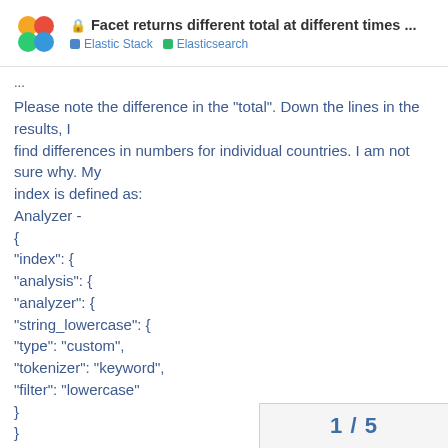🔒 Facet returns different total at different times ... | Elastic Stack | Elasticsearch
...
Please note the difference in the "total". Down the lines in the results, I find differences in numbers for individual countries. I am not sure why. My index is defined as:
Analyzer -
{
"index": {
"analysis": {
"analyzer": {
"string_lowercase": {
"type": "custom",
"tokenizer": "keyword",
"filter": "lowercase"
}
}
}
}
1 / 5